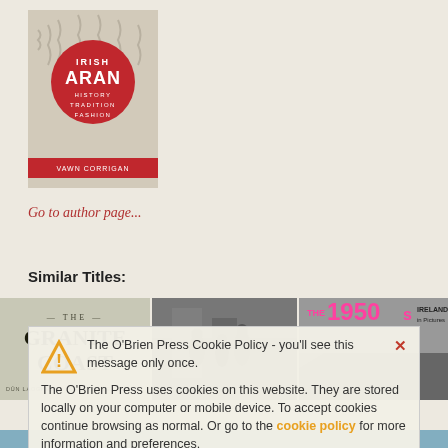[Figure (photo): Book cover: Irish Aran - History Tradition Fashion by Vawn Corrigan, with red circle logo and knit sweater background]
Go to author page...
Similar Titles:
[Figure (photo): Book cover: The Granite Coast - Dún Laoghaire, Sandycove, Dalkey]
[Figure (photo): Black and white photograph book cover showing people on a street]
[Figure (photo): Book cover: The 1950s Ireland in Pictures]
The O'Brien Press Cookie Policy - you'll see this message only once.

The O'Brien Press uses cookies on this website. They are stored locally on your computer or mobile device. To accept cookies continue browsing as normal. Or go to the cookie policy for more information and preferences.